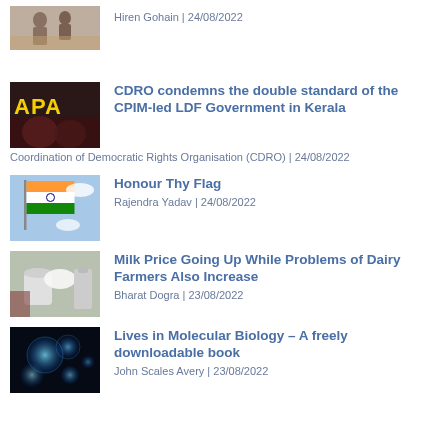[Figure (photo): Thumbnail image (partially visible) showing people, cropped at top]
Hiren Gohain | 24/08/2022
[Figure (photo): Thumbnail image with yellow text 'APA' and red/dark background]
CDRO condemns the double standard of the CPIM-led LDF Government in Kerala
Coordination of Democratic Rights Organisation (CDRO) | 24/08/2022
[Figure (photo): Thumbnail image of Indian tricolor flag waving against sky]
Honour Thy Flag
Rajendra Yadav | 24/08/2022
[Figure (photo): Thumbnail image of milk containers and dairy equipment]
Milk Price Going Up While Problems of Dairy Farmers Also Increase
Bharat Dogra | 23/08/2022
[Figure (photo): Thumbnail image of glowing spherical cells/molecules on dark background]
Lives in Molecular Biology – A freely downloadable book
John Scales Avery | 23/08/2022